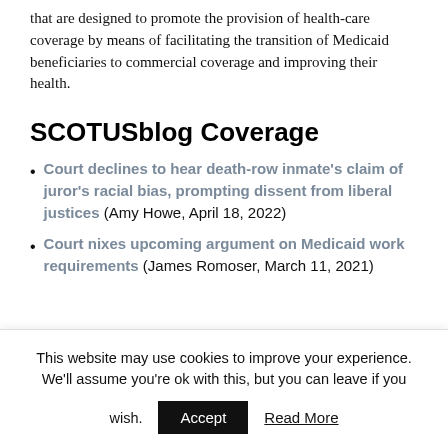that are designed to promote the provision of healthcare coverage by means of facilitating the transition of Medicaid beneficiaries to commercial coverage and improving their health.
SCOTUSblog Coverage
Court declines to hear death-row inmate's claim of juror's racial bias, prompting dissent from liberal justices (Amy Howe, April 18, 2022)
Court nixes upcoming argument on Medicaid work requirements (James Romoser, March 11, 2021)
This website may use cookies to improve your experience. We'll assume you're ok with this, but you can leave if you wish.  Accept  Read More